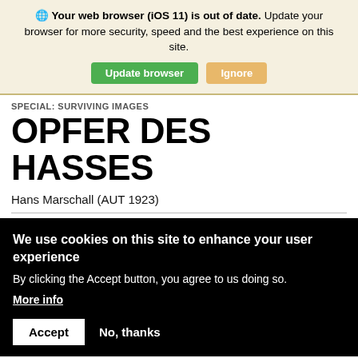Your web browser (iOS 11) is out of date. Update your browser for more security, speed and the best experience on this site.
Update browser | Ignore
SPECIAL: SURVIVING IMAGES
OPFER DES HASSES
Hans Marschall (AUT 1923)
We use cookies on this site to enhance your user experience
By clicking the Accept button, you agree to us doing so.
More info
Accept   No, thanks